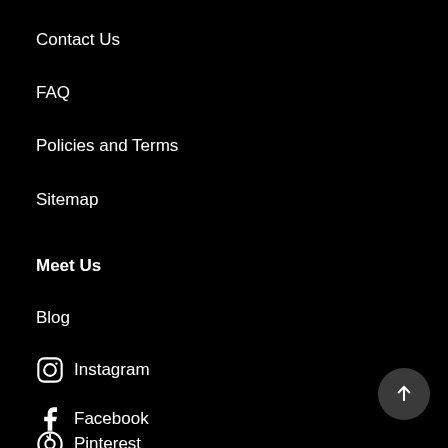Contact Us
FAQ
Policies and Terms
Sitemap
Meet Us
Blog
Instagram
Facebook
Pinterest